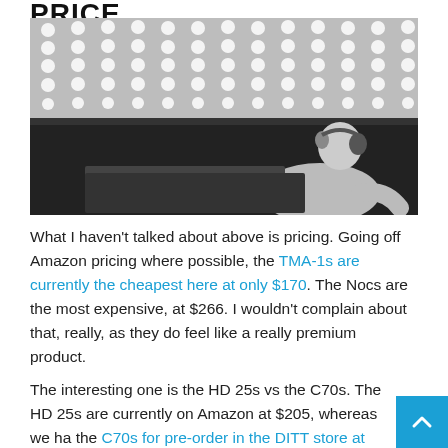PRICE
[Figure (photo): Black and white photo of a DJ wearing headphones, looking up at a ceiling with a grid of lights, positioned behind DJ equipment.]
What I haven't talked about above is pricing. Going off Amazon pricing where possible, the TMA-1s are currently the cheapest here at only $170. The Nocs are the most expensive, at $266. I wouldn't complain about that, really, as they do feel like a really premium product.
The interesting one is the HD 25s vs the C70s. The HD 25s are currently on Amazon at $205, whereas we ha the C70s for pre-order in the DITT store at $199.